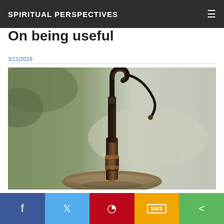SPIRITUAL PERSPECTIVES
On being useful
3/11/2019
[Figure (photo): Close-up photo of a brass/metal compass or sundial with a dark metal gnomon/pointer against a blurred outdoor background]
f  Twitter  Pinterest  SMS  Share